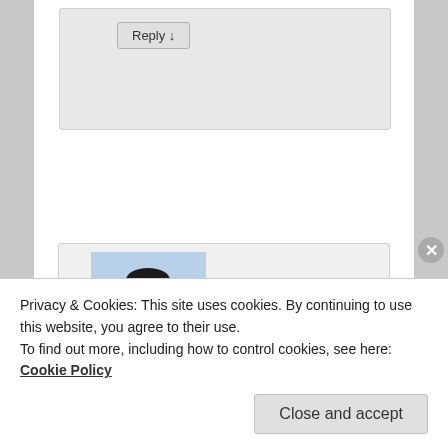[Figure (screenshot): A webpage screenshot showing a comment section with a Reply button, a user avatar photo of a man in a light blue shirt, and a cookie consent banner overlay at the bottom. The cookie banner reads: 'Privacy & Cookies: This site uses cookies. By continuing to use this website, you agree to their use. To find out more, including how to control cookies, see here: Cookie Policy' with a 'Close and accept' button.]
Reply ↓
Balram on March 31, 2015 at 14:51 said:
Privacy & Cookies: This site uses cookies. By continuing to use this website, you agree to their use.
To find out more, including how to control cookies, see here: Cookie Policy
Close and accept